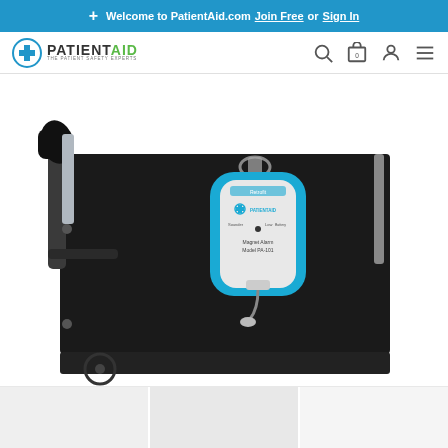+ Welcome to PatientAid.com Join Free or Sign In
[Figure (logo): PatientAid logo with cross icon and tagline 'The Patient Safety Experts']
[Figure (photo): A black wheelchair with a blue and white magnetic alarm device (PatientAid Magnetic Alarm Model PA-101) clipped to the back push handle area of the wheelchair seat back.]
[Figure (photo): Three product thumbnail images shown at bottom of page in a row (partially visible)]